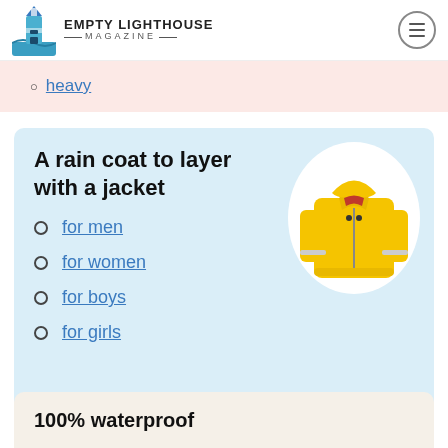Empty Lighthouse Magazine
heavy
A rain coat to layer with a jacket
[Figure (photo): Yellow children's rain jacket with reflective strips and hood, shown on white oval background]
for men
for women
for boys
for girls
100% waterproof